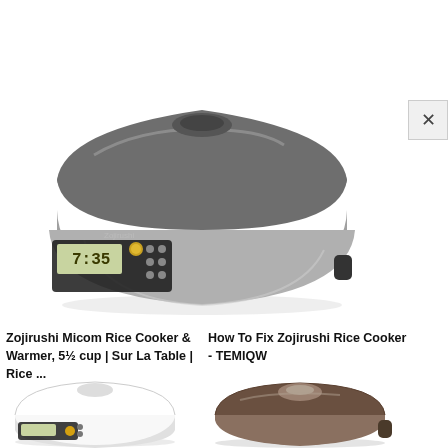[Figure (photo): Zojirushi Micom Rice Cooker stainless steel appliance with digital display and controls]
Zojirushi Micom Rice Cooker & Warmer, 5½ cup | Sur La Table | Rice ...
How To Fix Zojirushi Rice Cooker - TEMIQW
[Figure (photo): White Zojirushi rice cooker (bottom left)]
[Figure (photo): Dark bronze/brown Zojirushi rice cooker (bottom right)]